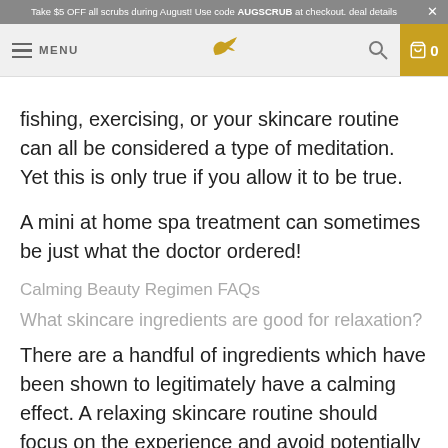Take $5 OFF all scrubs during August! Use code AUGSCRUB at checkout. deal details ×
MENU [bird logo] [search] 0
fishing, exercising, or your skincare routine can all be considered a type of meditation. Yet this is only true if you allow it to be true.
A mini at home spa treatment can sometimes be just what the doctor ordered!
Calming Beauty Regimen FAQs
What skincare ingredients are good for relaxation?
There are a handful of ingredients which have been shown to legitimately have a calming effect. A relaxing skincare routine should focus on the experience and avoid potentially harmful ingredients